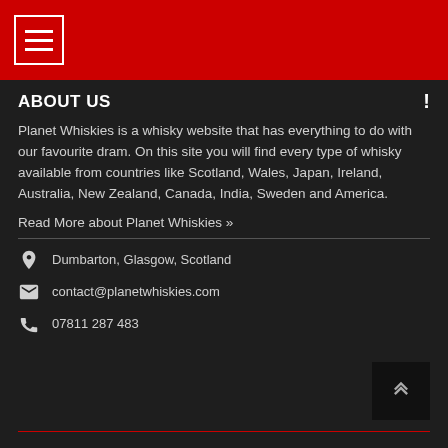Navigation menu button (hamburger icon)
ABOUT US
Planet Whiskies is a whisky website that has everything to do with our favourite dram. On this site you will find every type of whisky available from countries like Scotland, Wales, Japan, Ireland, Australia, New Zealand, Canada, India, Sweden and America.
Read More about Planet Whiskies »
Dumbarton, Glasgow, Scotland
contact@planetwhiskies.com
07811 287 483